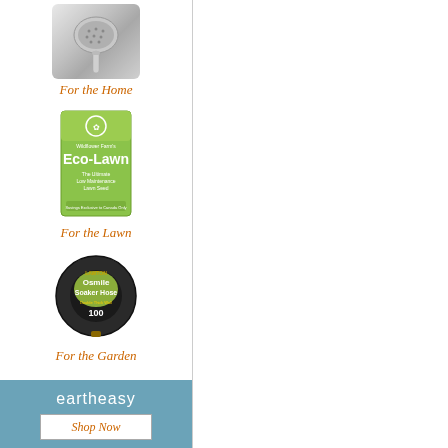[Figure (photo): Chrome shower head / handheld shower product image]
For the Home
[Figure (photo): Wildflower Farm's Eco-Lawn seed bag, green packaging]
For the Lawn
[Figure (photo): Osmile Soaker Hose coiled in black circular packaging]
For the Garden
[Figure (logo): eartheasy logo with Shop Now button on blue-grey background]